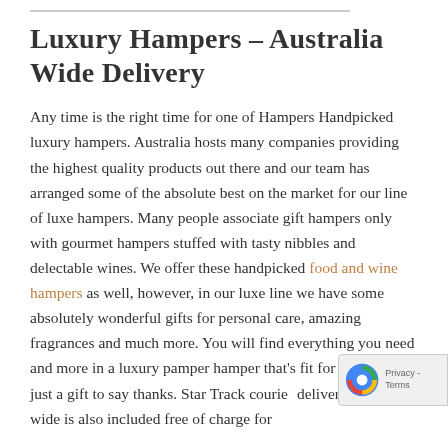Luxury Hampers – Australia Wide Delivery
Any time is the right time for one of Hampers Handpicked luxury hampers. Australia hosts many companies providing the highest quality products out there and our team has arranged some of the absolute best on the market for our line of luxe hampers. Many people associate gift hampers only with gourmet hampers stuffed with tasty nibbles and delectable wines. We offer these handpicked food and wine hampers as well, however, in our luxe line we have some absolutely wonderful gifts for personal care, amazing fragrances and much more. You will find everything you need and more in a luxury pamper hamper that's fit for any party or just a gift to say thanks. Star Track courier delivery Australia wide is also included free of charge for